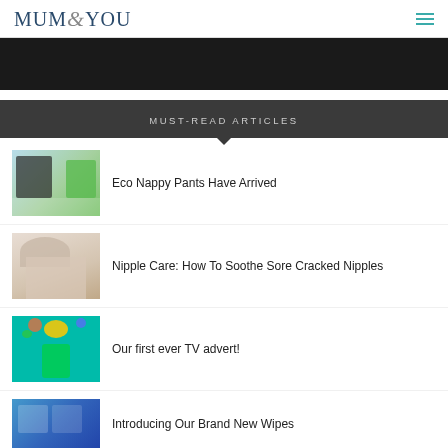MUM & YOU
[Figure (photo): Dark/black hero banner image strip]
MUST-READ ARTICLES
[Figure (photo): Thumbnail image for Eco Nappy Pants article showing a baby and nappy pants packaging]
Eco Nappy Pants Have Arrived
[Figure (photo): Thumbnail image for Nipple Care article showing a woman]
Nipple Care: How To Soothe Sore Cracked Nipples
[Figure (photo): Thumbnail image for TV advert article with colorful teal background and hot air balloon]
Our first ever TV advert!
[Figure (photo): Thumbnail image for Wipes article with blue background]
Introducing Our Brand New Wipes